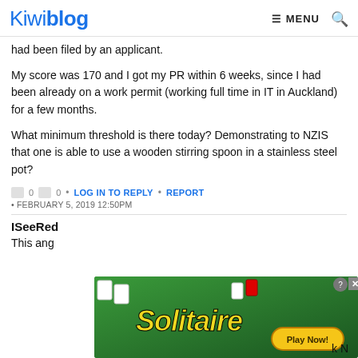Kiwiblog | MENU
had been filed by an applicant.
My score was 170 and I got my PR within 6 weeks, since I had been already on a work permit (working full time in IT in Auckland) for a few months.
What minimum threshold is there today? Demonstrating to NZIS that one is able to use a wooden stirring spoon in a stainless steel pot?
0 0 • LOG IN TO REPLY • REPORT
• FEBRUARY 5, 2019 12:50PM
ISeeRed
This ang... k N
[Figure (screenshot): Solitaire game advertisement banner with green background, card graphics, yellow 'Solitaire' text and 'Play Now!' button]